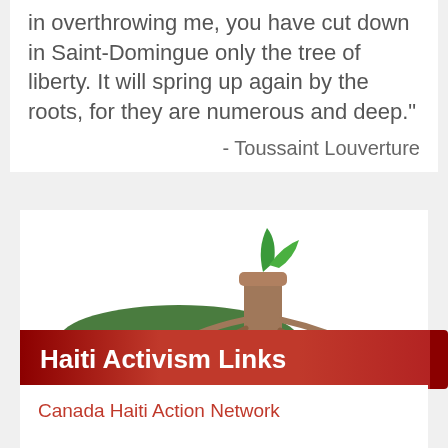In overthrowing me, you have cut down in Saint-Domingue only the tree of liberty. It will spring up again by the roots, for they are numerous and deep."
- Toussaint Louverture
[Figure (illustration): Illustration of a tree stump with roots and a small green sprout, styled in green and brown colors, representing the quote about the tree of liberty.]
Haiti Activism Links
Canada Haiti Action Network
CHAN on Facebook
Haiti Grassroots Watch